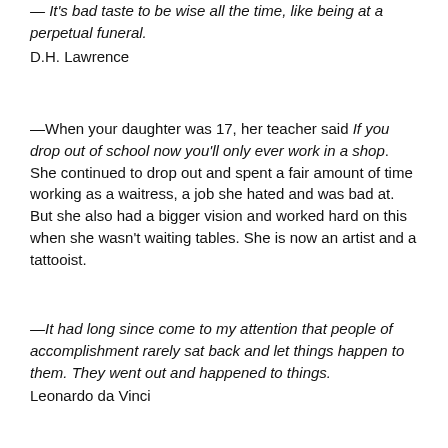— It's bad taste to be wise all the time, like being at a perpetual funeral.
D.H. Lawrence
—When your daughter was 17, her teacher said If you drop out of school now you'll only ever work in a shop. She continued to drop out and spent a fair amount of time working as a waitress, a job she hated and was bad at. But she also had a bigger vision and worked hard on this when she wasn't waiting tables. She is now an artist and a tattooist.
—It had long since come to my attention that people of accomplishment rarely sat back and let things happen to them. They went out and happened to things.
Leonardo da Vinci